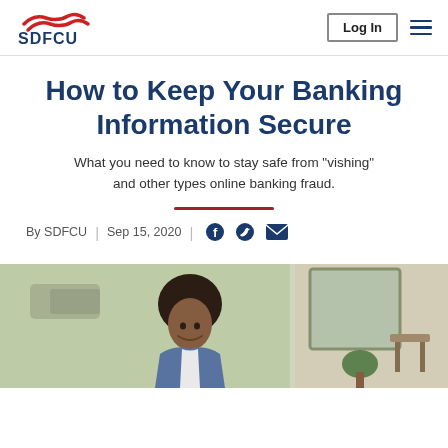[Figure (logo): SDFCU logo with red wave/swoosh graphic above bold navy blue text 'SDFCU']
Log In
How to Keep Your Banking Information Secure
What you need to know to stay safe from "vishing" and other types online banking fraud.
By SDFCU | Sep 15, 2020
[Figure (photo): A smiling young man with an afro hairstyle sitting in what appears to be a cafe or outdoor setting, wearing a denim jacket]